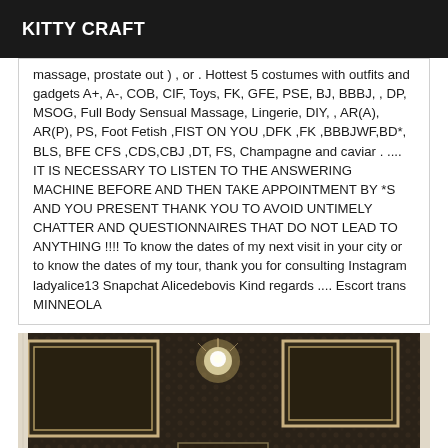KITTY CRAFT
massage, prostate out ) , or . Hottest 5 costumes with outfits and gadgets A+, A-, COB, CIF, Toys, FK, GFE, PSE, BJ, BBBJ, , DP, MSOG, Full Body Sensual Massage, Lingerie, DIY, , AR(A), AR(P), PS, Foot Fetish ,FIST ON YOU ,DFK ,FK ,BBBJWF,BD*, BLS, BFE CFS ,CDS,CBJ ,DT, FS, Champagne and caviar . .... IT IS NECESSARY TO LISTEN TO THE ANSWERING MACHINE BEFORE AND THEN TAKE APPOINTMENT BY *S AND YOU PRESENT THANK YOU TO AVOID UNTIMELY CHATTER AND QUESTIONNAIRES THAT DO NOT LEAD TO ANYTHING !!!! To know the dates of my next visit in your city or to know the dates of my tour, thank you for consulting Instagram ladyalice13 Snapchat Alicedebovis Kind regards .... Escort trans MINNEOLA
[Figure (photo): Interior ceiling photo showing ornate dark patterned ceiling tiles with two framed panels, a ceiling light, and marble-like white side pilasters]